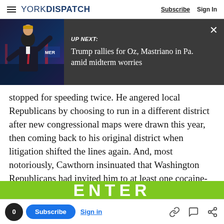YORK DISPATCH | Subscribe  Sign In
[Figure (screenshot): UP NEXT banner with thumbnail photo of man in suit waving, dark gray background. Text reads 'UP NEXT: Trump rallies for Oz, Mastriano in Pa. amid midterm worries' with an X close button.]
stopped for speeding twice. He angered local Republicans by choosing to run in a different district after new congressional maps were drawn this year, then coming back to his original district when litigation shifted the lines again. And, most notoriously, Cawthorn insinuated that Washington Republicans had invited him to at least one cocaine-fueled orgy.
Advertisement
0  Subscribe  Sign in